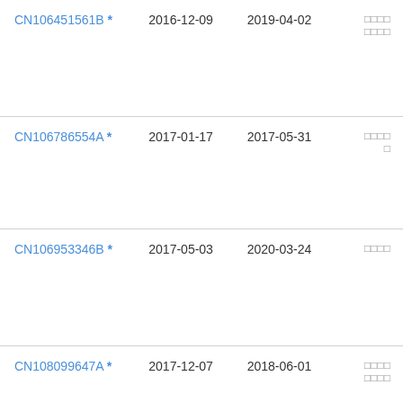| Patent ID | Filing Date | Publication Date | Notes |
| --- | --- | --- | --- |
| CN106451561B * | 2016-12-09 | 2019-04-02 | □□□□
□□□□ |
| CN106786554A * | 2017-01-17 | 2017-05-31 | □□□□
□ |
| CN106953346B * | 2017-05-03 | 2020-03-24 | □□□□ |
| CN108099647A * | 2017-12-07 | 2018-06-01 | □□□□
□□□□ |